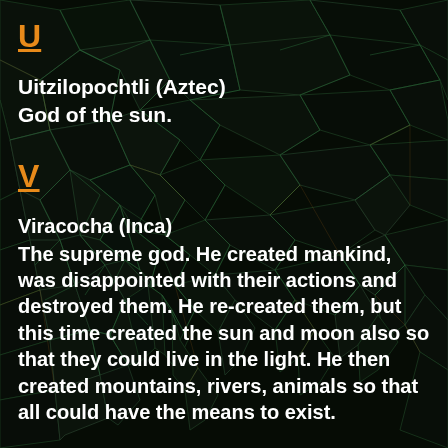U
Uitzilopochtli (Aztec)
God of the sun.
V
Viracocha (Inca)
The supreme god. He created mankind, was disappointed with their actions and destroyed them. He re-created them, but this time created the sun and moon also so that they could live in the light. He then created mountains, rivers, animals so that all could have the means to exist.